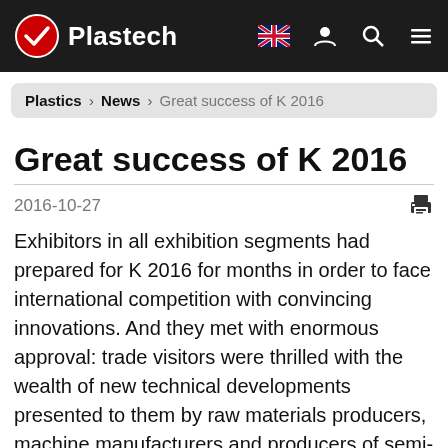Plastech
Plastics › News › Great success of K 2016
Great success of K 2016
2016-10-27
Exhibitors in all exhibition segments had prepared for K 2016 for months in order to face international competition with convincing innovations. And they met with enormous approval: trade visitors were thrilled with the wealth of new technical developments presented to them by raw materials producers, machine manufacturers and producers of semi-finished and technical parts. Over 70% of visitors confirmed having received information on